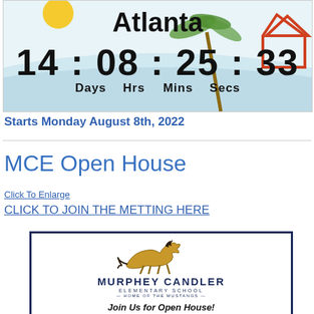[Figure (other): Countdown timer widget showing Atlanta with 14:08:25:33 days, hours, minutes, seconds with tropical beach decorative background including sun and palm tree]
Starts Monday August 8th, 2022
MCE Open House
Click To Enlarge
CLICK TO JOIN THE METTING HERE
[Figure (logo): Murphey Candler Elementary School logo featuring a running mustang horse, with text MURPHEY CANDLER ELEMENTARY SCHOOL HOME OF THE MUSTANGS, and tagline Join Us for Open House!]